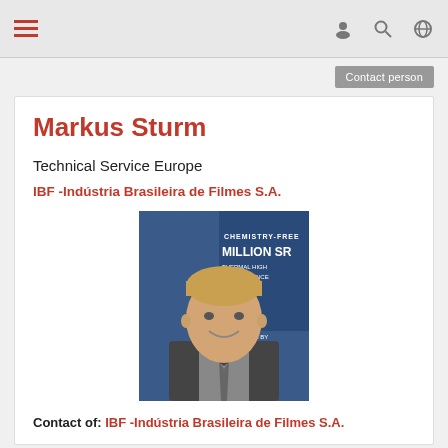Navigation bar with hamburger menu and icons
Contact person
Markus Sturm
Technical Service Europe
IBF -Indústria Brasileira de Filmes S.A.
[Figure (photo): Portrait photo of Markus Sturm, a man in a dark suit with a tie, smiling, in front of a blue banner with text MILLION SR, GFAST, FILMS]
Contact of: IBF -Indústria Brasileira de Filmes S.A.